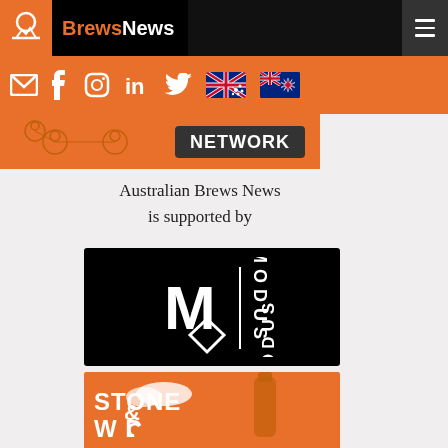[Figure (logo): BrewsNews website header with logo and hamburger menu on black background]
[Figure (infographic): Orange navigation bar with social media icons (email, facebook, instagram, linkedin, twitter) and Australian/NZ flags]
[Figure (infographic): Orange banner area with network graphic icons]
Australian Brews News
is supported by
[Figure (logo): Modus Brewing logo - white M and diamond shape with vertical MODUS text on black background]
[Figure (logo): Stone & Wood brewing advertisement on orange background]